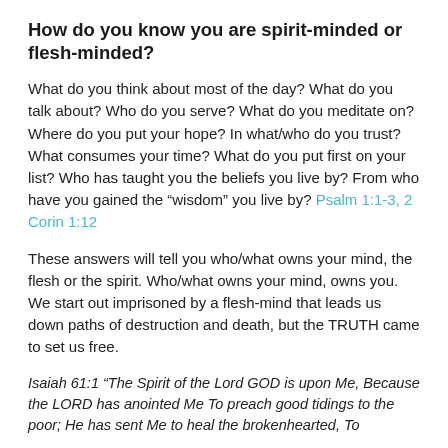How do you know you are spirit-minded or flesh-minded?
What do you think about most of the day? What do you talk about? Who do you serve? What do you meditate on? Where do you put your hope? In what/who do you trust? What consumes your time? What do you put first on your list? Who has taught you the beliefs you live by? From who have you gained the “wisdom” you live by? Psalm 1:1-3, 2 Corin 1:12
These answers will tell you who/what owns your mind, the flesh or the spirit. Who/what owns your mind, owns you. We start out imprisoned by a flesh-mind that leads us down paths of destruction and death, but the TRUTH came to set us free.
Isaiah 61:1 “The Spirit of the Lord GOD is upon Me, Because the LORD has anointed Me To preach good tidings to the poor; He has sent Me to heal the brokenhearted, To